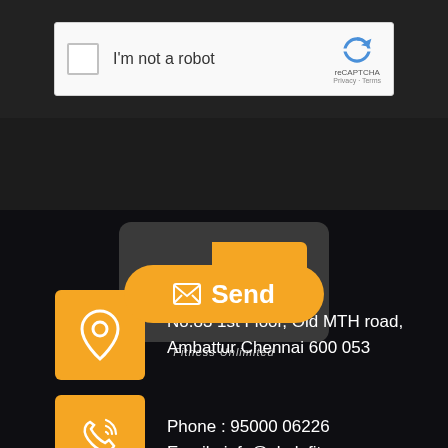[Figure (screenshot): reCAPTCHA widget with checkbox labeled 'I'm not a robot' and Google reCAPTCHA logo with Privacy and Terms links]
[Figure (screenshot): Yellow rounded 'Send' button with envelope icon]
[Figure (logo): SKALE Fitness Unlimited logo - SK in dark background, ALE in yellow background with tagline 'Fitness Unlimited']
No.83 1st Floor, Old MTH road, Ambattur Chennai 600 053
Phone : 95000 06226
Email : info@skalefitness.com